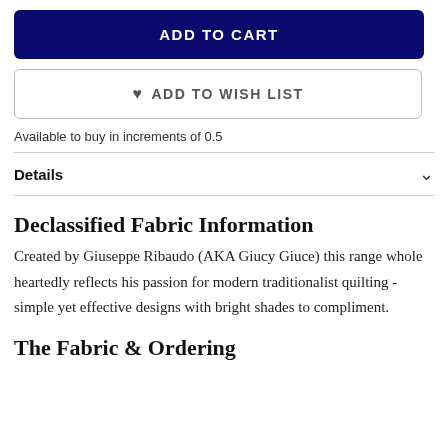ADD TO CART
♥ ADD TO WISH LIST
Available to buy in increments of 0.5
Details
Declassified Fabric Information
Created by Giuseppe Ribaudo (AKA Giucy Giuce) this range whole heartedly reflects his passion for modern traditionalist quilting - simple yet effective designs with bright shades to compliment.
The Fabric & Ordering